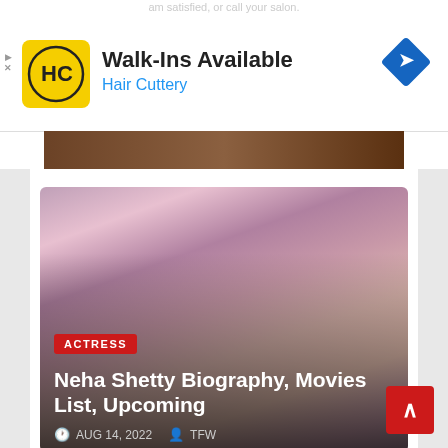[Figure (screenshot): Ad banner for Hair Cuttery showing HC logo, 'Walk-Ins Available' text, and Hair Cuttery name in blue]
Walk-Ins Available
Hair Cuttery
[Figure (photo): Article card showing woman with dark hair and choker necklace with pink/purple tones]
ACTRESS
Neha Shetty Biography, Movies List, Upcoming
AUG 14, 2022   TFW